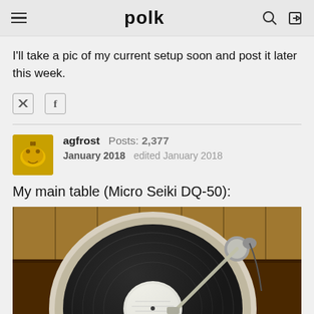polk
I'll take a pic of my current setup soon and post it later this week.
agfrost  Posts: 2,377  January 2018  edited January 2018
My main table (Micro Seiki DQ-50):
[Figure (photo): Top-down photo of a Micro Seiki DQ-50 turntable with a vinyl record on the platter and a tonearm visible on the right side, placed on a wooden surface with wood-paneled wall in background.]